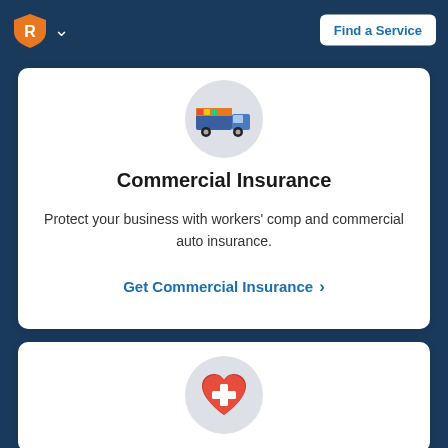[Figure (screenshot): Navigation bar with orange shield R logo and Find a Service button]
[Figure (illustration): Colorful commercial/business icon in a gray circle]
Commercial Insurance
Protect your business with workers' comp and commercial auto insurance.
Get Commercial Insurance >
[Figure (illustration): Red heart with white cross icon in a gray circle]